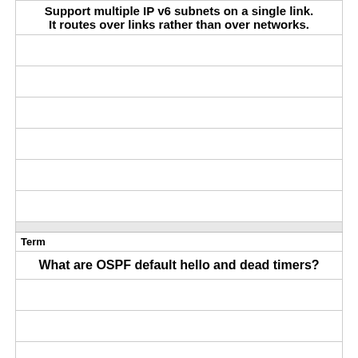Support multiple IP v6 subnets on a single link. It routes over links rather than over networks.
|  |
|  |
|  |
|  |
|  |
|  |
Term
What are OSPF default hello and dead timers?
|  |
|  |
|  |
|  |
|  |
Definition